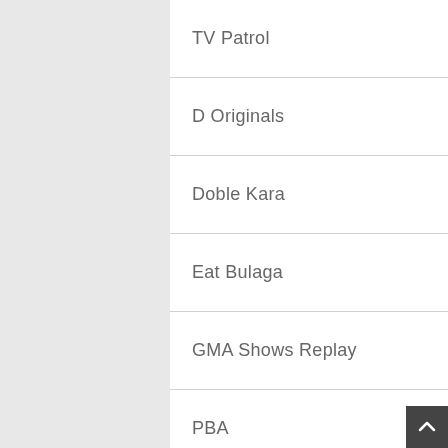TV Patrol
D Originals
Doble Kara
Eat Bulaga
GMA Shows Replay
PBA
Pinoy TV Shows
Pinoy TV Shows
Uncategorized